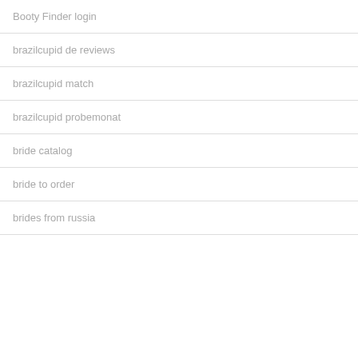Booty Finder login
brazilcupid de reviews
brazilcupid match
brazilcupid probemonat
bride catalog
bride to order
brides from russia